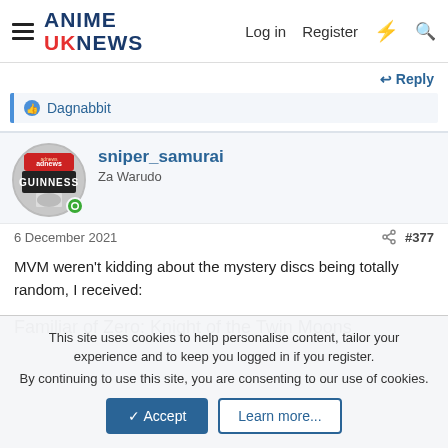ANIME UK NEWS — Log in  Register
Reply
Dagnabbit
sniper_samurai
Za Warudo
6 December 2021   #377
MVM weren't kidding about the mystery discs being totally random, I received:
Familiar of Zero: Knight of the Twin Moons
This site uses cookies to help personalise content, tailor your experience and to keep you logged in if you register.
By continuing to use this site, you are consenting to our use of cookies.